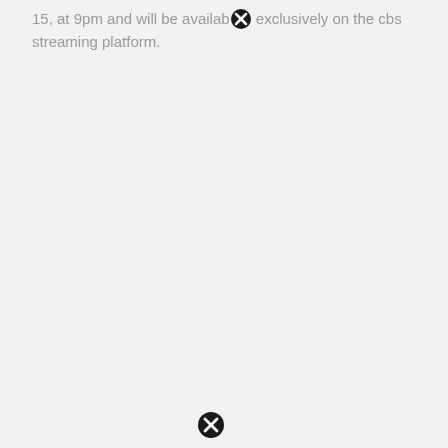15, at 9pm and will be available exclusively on the cbs streaming platform.